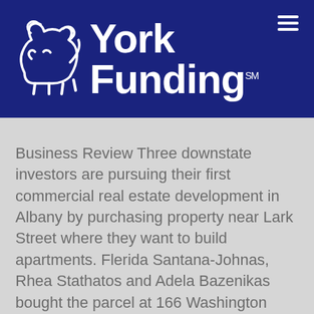[Figure (logo): York Funding logo with white dog silhouette and bold white text 'York Funding SM' on dark blue background]
Business Review Three downstate investors are pursuing their first commercial real estate development in Albany by purchasing property near Lark Street where they want to build apartments. Flerida Santana-Johnas, Rhea Stathatos and Adela Bazenikas bought the parcel at 166 Washington Ave. through a limited liability company, paying $510,000. The property includes a small residential/office building [...]